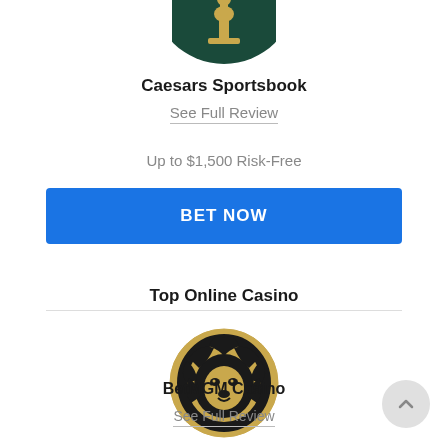[Figure (logo): Caesars Sportsbook logo — dark green circle with a gold chess piece (pawn/bishop) icon, partially cropped at top]
Caesars Sportsbook
See Full Review
Up to $1,500 Risk-Free
BET NOW
Top Online Casino
[Figure (logo): BetMGM Casino logo — gold circle with a black lion face illustration]
BetMGM Casino
See Full Review